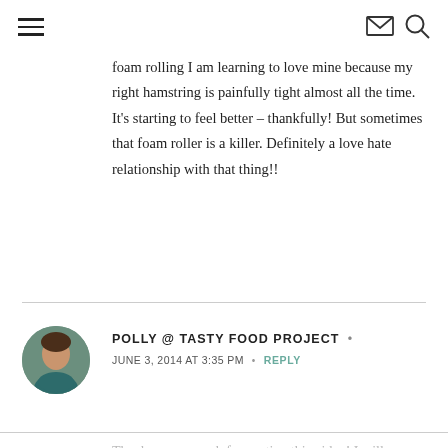navigation header with hamburger menu, mail icon, search icon
foam rolling I am learning to love mine because my right hamstring is painfully tight almost all the time. It’s starting to feel better – thankfully! But sometimes that foam roller is a killer. Definitely a love hate relationship with that thing!!
POLLY @ TASTY FOOD PROJECT •
JUNE 3, 2014 AT 3:35 PM • REPLY
Thank you so much for posting this video! I will definitely refer back to this to make sure I’m doing it